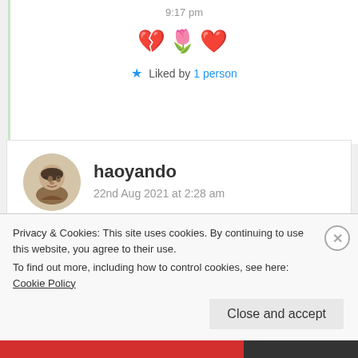9:17 pm
💔🌷❤️
★ Liked by 1 person
haoyando
22nd Aug 2021 at 2:28 am
It is so sad to watch. Women's fate is in peril. It's unbelievable that Taliban could rise from the ashes
Privacy & Cookies: This site uses cookies. By continuing to use this website, you agree to their use.
To find out more, including how to control cookies, see here: Cookie Policy
Close and accept